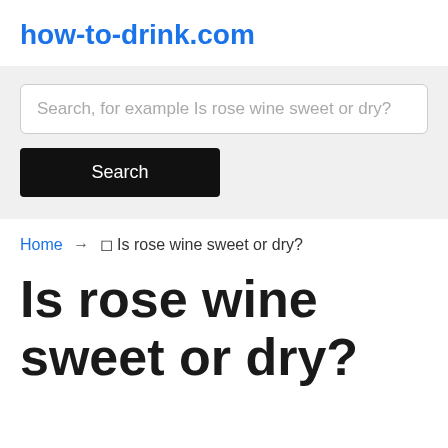how-to-drink.com
[Figure (screenshot): Search bar with placeholder text 'Search, for example Is rose wine sweet or dry?' and a black Search button below]
Home → 🍷 Is rose wine sweet or dry?
Is rose wine sweet or dry?